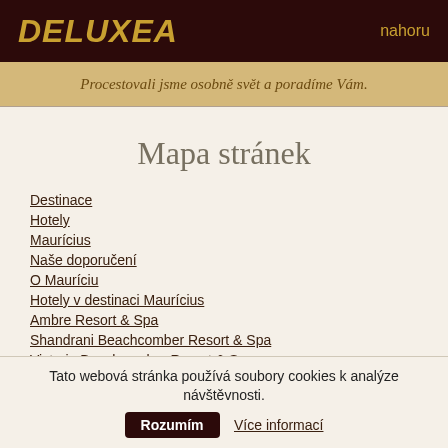DELUXEA   nahoru
Procestovali jsme osobně svět a poradíme Vám.
Mapa stránek
Destinace
Hotely
Maurícius
Naše doporučení
O Mauríciu
Hotely v destinaci Maurícius
Ambre Resort & Spa
Shandrani Beachcomber Resort & Spa
Victoria Beachcomber Resort & Spa
La Pirogue Resort & Spa
Dinarobin Beachcomber Golf Resort & Spa
Tato webová stránka používá soubory cookies k analýze návštěvnosti.  Rozumím  Více informací